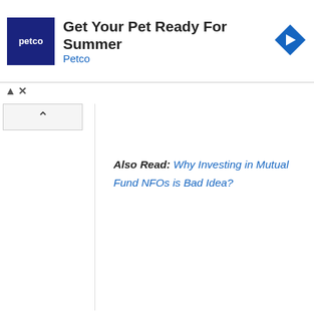[Figure (other): Petco advertisement banner with logo, text 'Get Your Pet Ready For Summer', Petco link, and blue diamond navigation icon]
Also Read: Why Investing in Mutual Fund NFOs is Bad Idea?
ASBA Problem
The problem is ASBA is still not popular among retail investors. In last three IPOs more than 75% of applications can from non-ASBA route. Making it compulsory might leave some investors. Also not all banks offer online ASBA facility which is another major issue.
How to apply IPO through ASBA online?